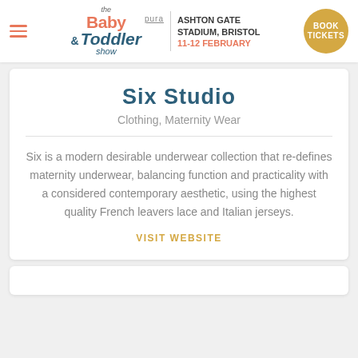the Baby & Toddler Show pura | ASHTON GATE STADIUM, BRISTOL 11-12 FEBRUARY | BOOK TICKETS
Six Studio
Clothing, Maternity Wear
Six is a modern desirable underwear collection that re-defines maternity underwear, balancing function and practicality with a considered contemporary aesthetic, using the highest quality French leavers lace and Italian jerseys.
VISIT WEBSITE